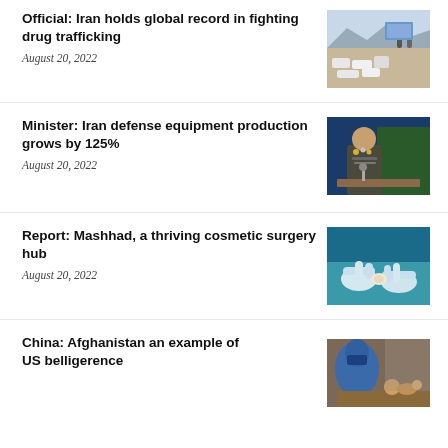Official: Iran holds global record in fighting drug trafficking
August 20, 2022
[Figure (photo): Outdoor scene with confiscated drugs laid out on the ground, officials in background]
Minister: Iran defense equipment production grows by 125%
August 20, 2022
[Figure (photo): Iranian military official speaking at a press conference with a green banner in background]
Report: Mashhad, a thriving cosmetic surgery hub
August 20, 2022
[Figure (photo): Close-up of medical gloved hands performing a surgical procedure]
China: Afghanistan an example of US belligerence
[Figure (photo): Woman in blue burqa at a table with food]